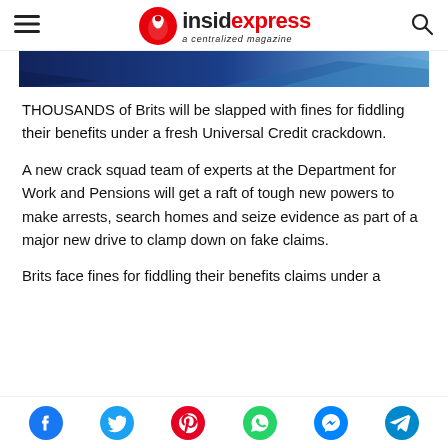insidexpress a centralized magazine
[Figure (photo): Hero image with dark blue geometric shapes, partial view at top of article]
THOUSANDS of Brits will be slapped with fines for fiddling their benefits under a fresh Universal Credit crackdown.
A new crack squad team of experts at the Department for Work and Pensions will get a raft of tough new powers to make arrests, search homes and seize evidence as part of a major new drive to clamp down on fake claims.
Brits face fines for fiddling their benefits claims under a
Social share icons: Facebook, Twitter, Pinterest, WhatsApp, Messenger, Telegram